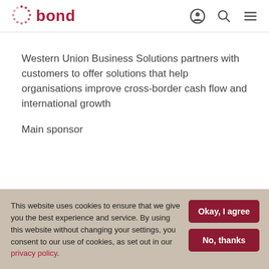bond
Western Union Business Solutions partners with customers to offer solutions that help organisations improve cross-border cash flow and international growth
Main sponsor
This website uses cookies to ensure that we give you the best experience and service. By using this website without changing your settings, you consent to our use of cookies, as set out in our privacy policy.